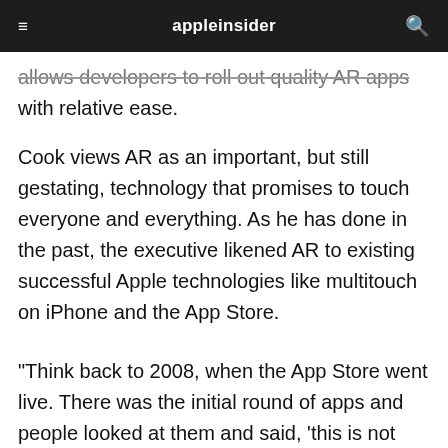appleinsider
allows developers to roll out quality AR apps with relative ease.
Cook views AR as an important, but still gestating, technology that promises to touch everyone and everything. As he has done in the past, the executive likened AR to existing successful Apple technologies like multitouch on iPhone and the App Store.
"Think back to 2008, when the App Store went live. There was the initial round of apps and people looked at them and said, 'this is not anything, mobile apps are not going to take off,'" Cook said. "And then step by step things start to